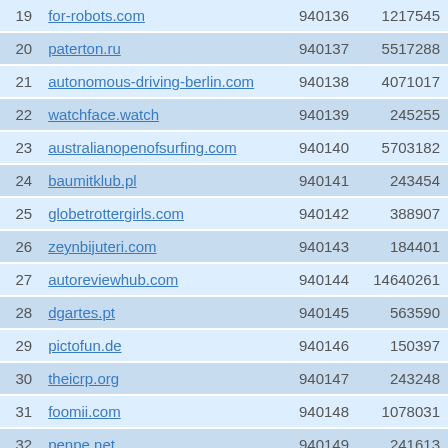| # | Domain | Col3 | Col4 |
| --- | --- | --- | --- |
| 19 | for-robots.com | 940136 | 1217545 |
| 20 | paterton.ru | 940137 | 5517288 |
| 21 | autonomous-driving-berlin.com | 940138 | 4071017 |
| 22 | watchface.watch | 940139 | 245255 |
| 23 | australianopenofsurfing.com | 940140 | 5703182 |
| 24 | baumitklub.pl | 940141 | 243454 |
| 25 | globetrottergirls.com | 940142 | 388907 |
| 26 | zeynbijuteri.com | 940143 | 184401 |
| 27 | autoreviewhub.com | 940144 | 14640261 |
| 28 | dgartes.pt | 940145 | 563590 |
| 29 | pictofun.de | 940146 | 150397 |
| 30 | theicrp.org | 940147 | 243248 |
| 31 | foomii.com | 940148 | 1078031 |
| 32 | penpe.net | 940149 | 241613 |